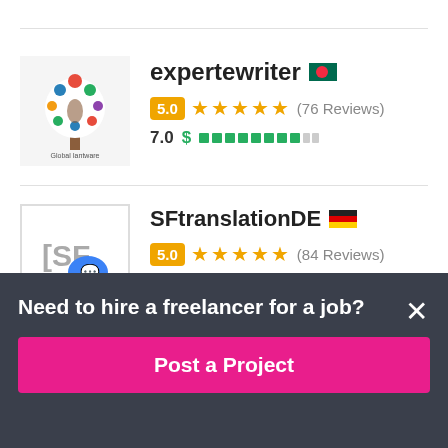expertewriter 🇧🇩
5.0 ★★★★★ (76 Reviews)
7.0 $ ████████░░░
SFtranslationDE 🇩🇪
5.0 ★★★★★ (84 Reviews)
6.6 $ ████████░░░
Need to hire a freelancer for a job?
Post a Project